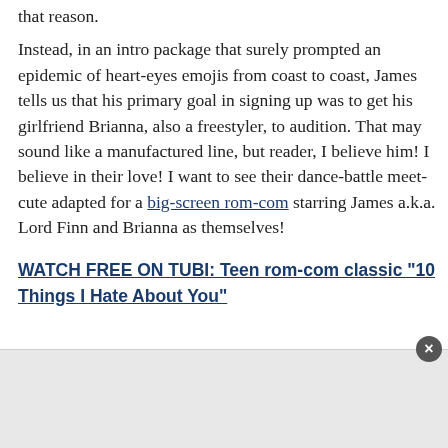that reason.
Instead, in an intro package that surely prompted an epidemic of heart-eyes emojis from coast to coast, James tells us that his primary goal in signing up was to get his girlfriend Brianna, also a freestyler, to audition. That may sound like a manufactured line, but reader, I believe him! I believe in their love! I want to see their dance-battle meet-cute adapted for a big-screen rom-com starring James a.k.a. Lord Finn and Brianna as themselves!
WATCH FREE ON TUBI: Teen rom-com classic "10 Things I Hate About You"
[Figure (other): Advertisement box with close button]